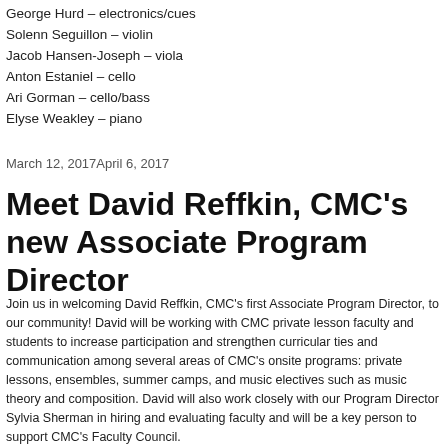George Hurd – electronics/cues
Solenn Seguillon – violin
Jacob Hansen-Joseph – viola
Anton Estaniel – cello
Ari Gorman – cello/bass
Elyse Weakley – piano
March 12, 2017April 6, 2017
Meet David Reffkin, CMC's new Associate Program Director
Join us in welcoming David Reffkin, CMC's first Associate Program Director, to our community! David will be working with CMC private lesson faculty and students to increase participation and strengthen curricular ties and communication among several areas of CMC's onsite programs: private lessons, ensembles, summer camps, and music electives such as music theory and composition. David will also work closely with our Program Director Sylvia Sherman in hiring and evaluating faculty and will be a key person to support CMC's Faculty Council.